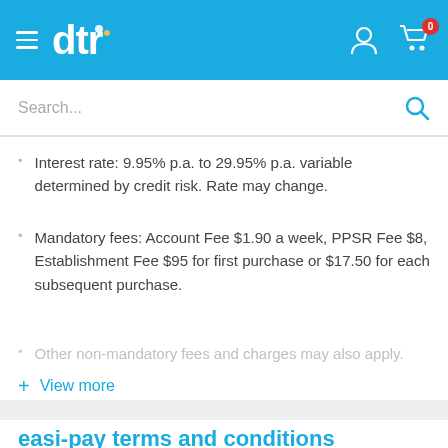dtr
Search...
Interest rate: 9.95% p.a. to 29.95% p.a. variable determined by credit risk. Rate may change.
Mandatory fees: Account Fee $1.90 a week, PPSR Fee $8, Establishment Fee $95 for first purchase or $17.50 for each subsequent purchase.
Other non-mandatory fees and charges may also apply.
+ View more
easi-pay terms and conditions